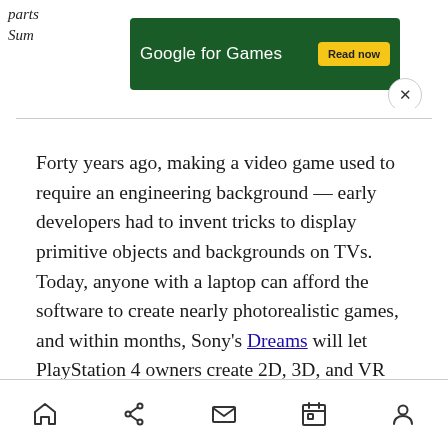[Figure (screenshot): Google for Games advertisement banner with dark green background, white text and yellow 'Read now' button]
Forty years ago, making a video game used to require an engineering background — early developers had to invent tricks to display primitive objects and backgrounds on TVs. Today, anyone with a laptop can afford the software to create nearly photorealistic games, and within months, Sony's Dreams will let PlayStation 4 owners create 2D, 3D, and VR games. By this time next year, creating a game will be easier for some people than writing a book.
Navigation bar with home, share, mail, calendar, and profile icons